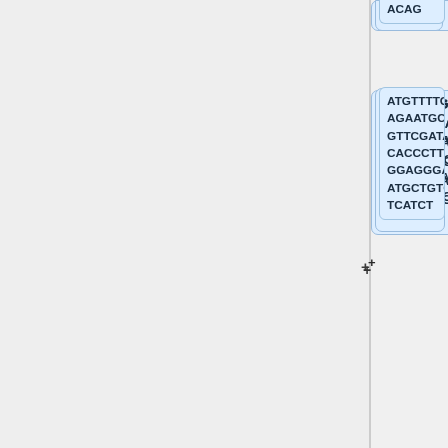[Figure (other): DNA sequence viewer showing four sequence boxes on the right side of a split panel layout. Each box contains nucleotide sequences (ACAG; ATGTTTTGAAA AGAATGCAAA GTTCGATATGA CACCCTTGCTT GGAGGGACAG ATGCTGTCTTC TCATCT; CTTGTCCATTC ATTTAGCTGGA ACCCAGCTAC ATTTCTTCATG CCTATACTTGT CTTCCCCTTCC ATATG; CGTTAAGGCA AGCTACAGGA ACCATATTGCA AGAAGTTTGC GCGTCTGGTG) with plus signs on the left edge of some boxes.]